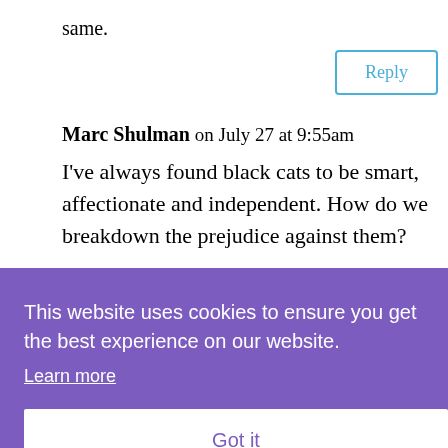same.
Reply
Marc Shulman on July 27 at 9:55am
I've always found black cats to be smart, affectionate and independent. How do we breakdown the prejudice against them?
This website uses cookies to ensure you get the best experience on our website. Learn more Got it
ginger and white mix and an all black cat